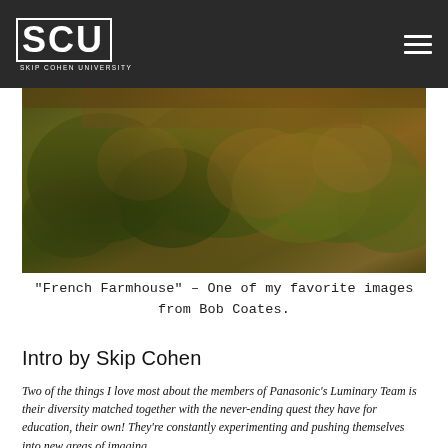SCU SKIP COHEN UNIVERSITY
[Figure (photo): Landscape photograph titled 'French Farmhouse' by Bob Coates showing dense green and autumn-colored foliage against weathered structures with warm golden-orange tones.]
"French Farmhouse" – One of my favorite images from Bob Coates.
Intro by Skip Cohen
Two of the things I love most about the members of Panasonic's Luminary Team is their diversity matched together with the never-ending quest they have for education, their own! They're constantly experimenting and pushing themselves into new areas of imaging.